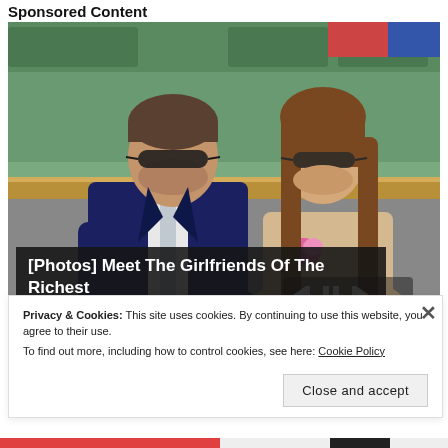Sponsored Content
[Figure (photo): A man in a dark navy suit with sunglasses and a woman with long brown hair wearing sunglasses and a beige outfit with a pink accessory, seated in what appears to be a stadium or sports venue with green seating and wooden railings.]
[Photos] Meet The Girlfriends Of The Richest Men On The Planet
Privacy & Cookies: This site uses cookies. By continuing to use this website, you agree to their use.
To find out more, including how to control cookies, see here: Cookie Policy
Close and accept